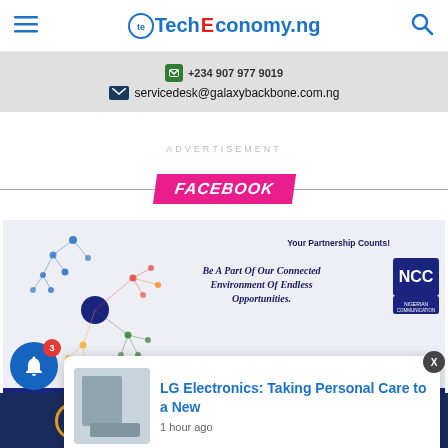TechEconomy.ng
servicedesk@galaxybackbone.com.ng
ADVERTISEMENT
FACEBOOK
[Figure (infographic): NCC Nigerian Communication Commission advertisement banner: network nodes graphic on left, text 'Your Partnership Counts! Be A Part Of Our Connected Environment Of Endless Opportunities.' and NCC logo on right, with blue bottom bar showing Tel: 234-9-4612...]
LG Electronics: Taking Personal Care to a New
1 hour ago
infobip